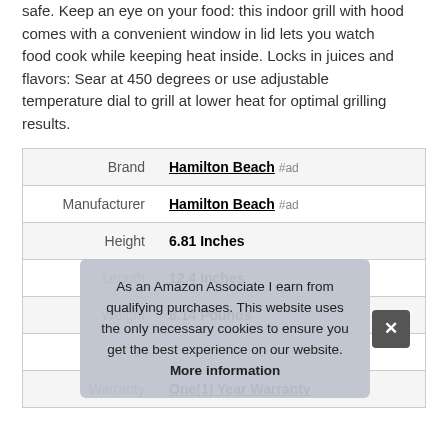safe. Keep an eye on your food: this indoor grill with hood comes with a convenient window in lid lets you watch food cook while keeping heat inside. Locks in juices and flavors: Sear at 450 degrees or use adjustable temperature dial to grill at lower heat for optimal grilling results.
| Attribute | Value |
| --- | --- |
| Brand | Hamilton Beach #ad |
| Manufacturer | Hamilton Beach #ad |
| Height | 6.81 Inches |
| Length | 12.4 Inches |
| Weight | 8.14 Pounds |
| P... |  |
| Warranty | One (1) Year Warranty |
As an Amazon Associate I earn from qualifying purchases. This website uses the only necessary cookies to ensure you get the best experience on our website. More information